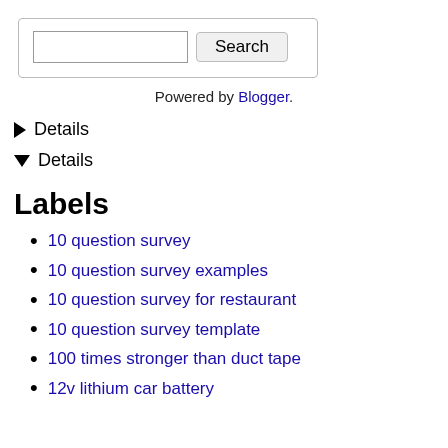[Figure (screenshot): Search box with a text input field and a Search button, inside a rounded rectangle border]
Powered by Blogger.
▶ Details
▼ Details
Labels
10 question survey
10 question survey examples
10 question survey for restaurant
10 question survey template
100 times stronger than duct tape
12v lithium car battery